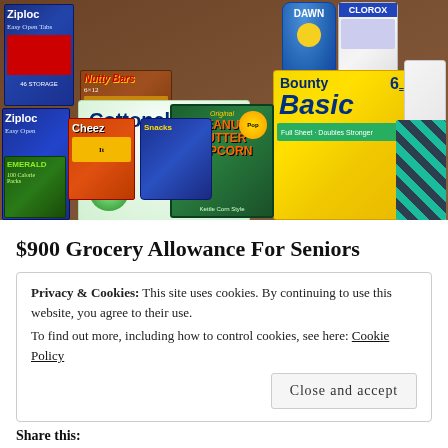[Figure (photo): Photograph of assorted grocery and household products including Ziploc bags, Nutty Bars, Cottonelle toilet paper, Bounty Basic paper towels, Dawn dish soap, Clorox cleaning products, Emerald snacks, and Peanut Butter Popcorn arranged together.]
$900 Grocery Allowance For Seniors
Privacy & Cookies: This site uses cookies. By continuing to use this website, you agree to their use.
To find out more, including how to control cookies, see here: Cookie Policy
Close and accept
Share this: